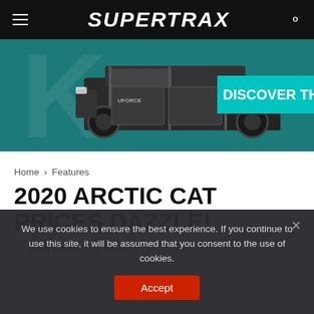SUPERTRAX
[Figure (photo): Advertisement banner showing a side-by-side utility vehicle (UTV) on a dark teal background with 'DISCOVER TH' text on a cyan label on the right side]
Home › Features
2020 ARCTIC CAT PRICES DAZZLE!
By Kent Lester   26 March 2019
We use cookies to ensure the best experience. If you continue to use this site, it will be assumed that you consent to the use of cookies.